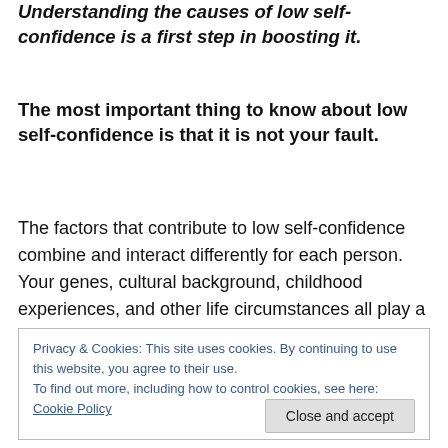Understanding the causes of low self-confidence is a first step in boosting it.
The most important thing to know about low self-confidence is that it is not your fault.
The factors that contribute to low self-confidence combine and interact differently for each person. Your genes, cultural background, childhood experiences, and other life circumstances all play a role. But don't lose heart — although we can't change the experiences in our past that shaped us, there is plenty we can do to alter our thoughts
Privacy & Cookies: This site uses cookies. By continuing to use this website, you agree to their use.
To find out more, including how to control cookies, see here: Cookie Policy
[Close and accept]